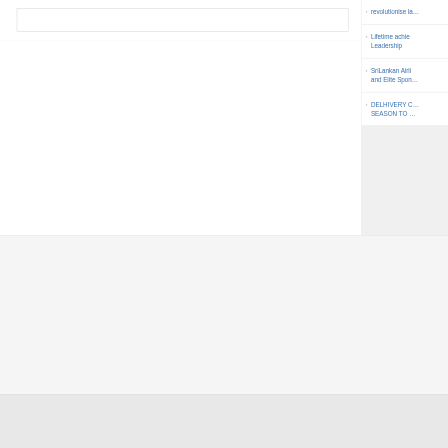revolutionise la…
Lifetime achie… Leadership
SriLankan Airli… and Elite Spon…
DELHIVERY C… SEASON TO …
© Copyright 2016 All rights reserved
Developed and Maintained by Poorna Corp.